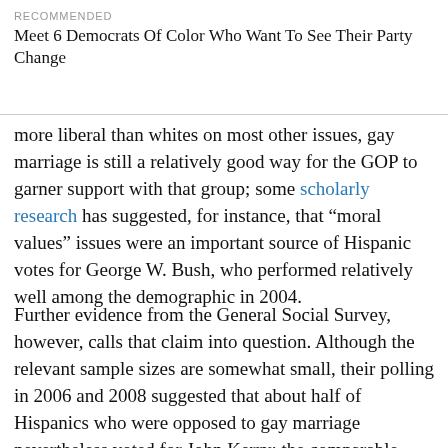RECOMMENDED
Meet 6 Democrats Of Color Who Want To See Their Party Change
more liberal than whites on most other issues, gay marriage is still a relatively good way for the GOP to garner support with that group; some scholarly research has suggested, for instance, that “moral values” issues were an important source of Hispanic votes for George W. Bush, who performed relatively well among the demographic in 2004.
Further evidence from the General Social Survey, however, calls that claim into question. Although the relevant sample sizes are somewhat small, their polling in 2006 and 2008 suggested that about half of Hispanics who were opposed to gay marriage nevertheless voted for John Kerry; the comparable fraction among non-Hispanic (mostly white) voters was only about one-third. Hispanic votes appear to be